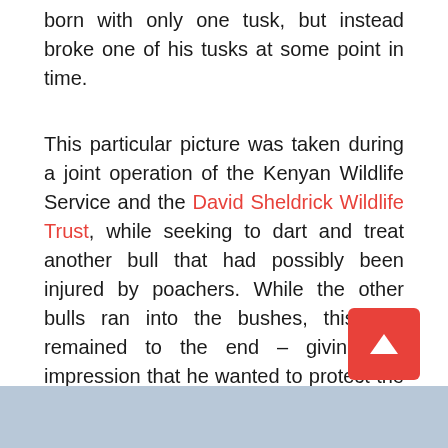born with only one tusk, but instead broke one of his tusks at some point in time.
This particular picture was taken during a joint operation of the Kenyan Wildlife Service and the David Sheldrick Wildlife Trust, while seeking to dart and treat another bull that had possibly been injured by poachers. While the other bulls ran into the bushes, this one remained to the end – giving the impression that he wanted to protect the others somehow and cover their retreat. He then disappeared into the bushes, and the targeted bull was finally darted from a helicopter.